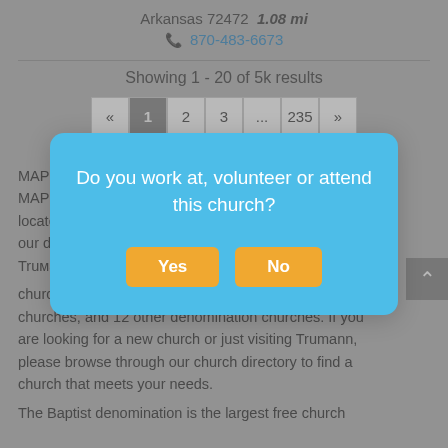Arkansas 72472  1.08 mi
870-483-6673
Showing 1 - 20 of 5k results
« 1 2 3 ... 235 »
MAPLE... 3509 MAPLE... is located... ding to our dat... es in Truman... churches, 3 Pentecostal churches, 2 Methodist churches, and 12 other denomination churches. If you are looking for a new church or just visiting Trumann, please browse through our church directory to find a church that meets your needs.

The Baptist denomination is the largest free church
[Figure (screenshot): Modal dialog asking 'Do you work at, volunteer or attend this church?' with Yes and No buttons in yellow/orange on a blue background.]